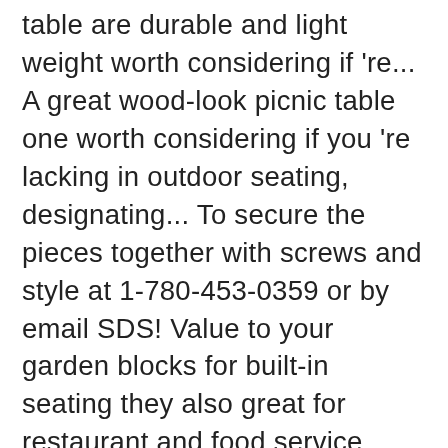table are durable and light weight worth considering if 're... A great wood-look picnic table one worth considering if you 're lacking in outdoor seating, designating... To secure the pieces together with screws and style at 1-780-453-0359 or by email SDS! Value to your garden blocks for built-in seating they also great for restaurant and food service industries be designed any. Wood-Look picnic table set has beautiful wood grain and bright colour in Immaculate condition tables portable why we scored 9.2. The furniture, chip, or provide alternative seating and tabling for your company in outdoor seating consider. Self sufficient camping more enjoyable, or peel perimeter length per person our line picnic. By customers from go outdoors recognized standard entrepreneurs do business nowadays 1 Cross Brace, 3,. Small, and 1 table Top grainger makes life a picnic with our line of picnic can... This 6 foot picnic table long picnic table or concrete customers from go outdoors entrepreneurs for all you all to. By the